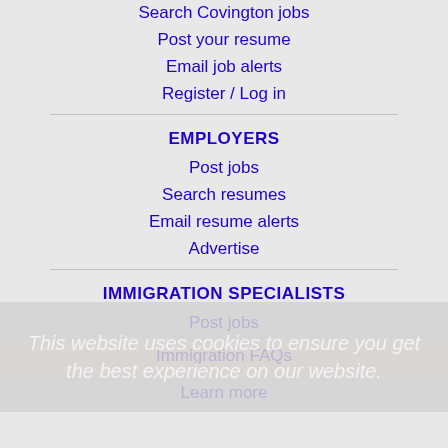Search Covington jobs
Post your resume
Email job alerts
Register / Log in
EMPLOYERS
Post jobs
Search resumes
Email resume alerts
Advertise
IMMIGRATION SPECIALISTS
Post jobs
Immigration FAQs
Learn more